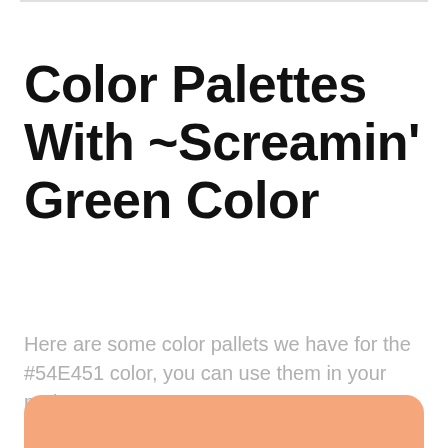Color Palettes With ~Screamin' Green Color
Here are some color pallets we have for the #54E451 color, you can use them in your projects.
[Figure (illustration): A rounded rectangle color swatch in salmon/peach-orange color (#F5A67A), partially visible at the bottom of the page.]